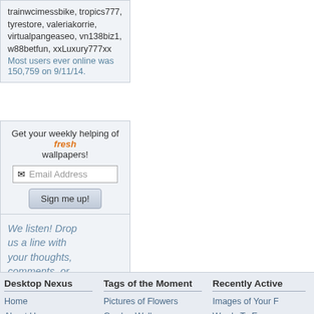trainwcimessbike, tropics777, tyrestore, valeriakorrie, virtualpangeaseo, vn138biz1, w88betfun, xxLuxury777xx
Most users ever online was 150,759 on 9/11/14.
Get your weekly helping of fresh wallpapers!
Email Address
Sign me up!
We listen! Drop us a line with your thoughts, comments, or feedback!
[Figure (illustration): Person with megaphone/bullhorn illustration in black and white]
[Figure (illustration): Support This Site banner with red heart icon]
Desktop Nexus
Home
About Us
Popular Wallpapers
Popular Tags
Community Stats
Tags of the Moment
Pictures of Flowers
Garden Wallpapers
Church Images
Obama Images
Sunset Wallpapers
Recently Active
Images of Your F
Words To Encou
Pink Pictures
Mostly White Pic
High Resolutio